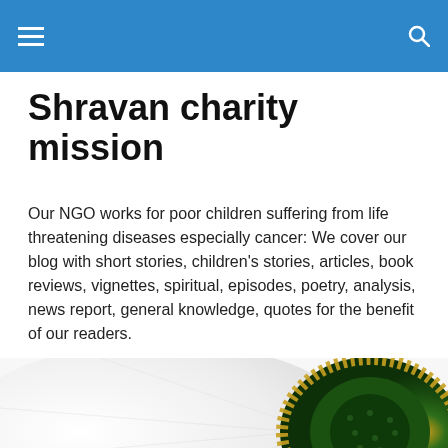Shravan charity mission
Our NGO works for poor children suffering from life threatening diseases especially cancer: We cover our blog with short stories, children's stories, articles, book reviews, vignettes, spiritual, episodes, poetry, analysis, news report, general knowledge, quotes for the benefit of our readers.
[Figure (photo): Close-up photograph of a white daisy flower with a green and yellow center, shown from above against a white background.]
Short story: ‘MORAL DILEMMA’ … science fiction